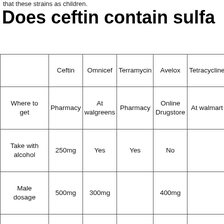that these strains as children.
Does ceftin contain sulfa
|  | Ceftin | Omnicef | Terramycin | Avelox | Tetracycline |
| --- | --- | --- | --- | --- | --- |
| Where to get | Pharmacy | At walgreens | Pharmacy | Online Drugstore | At walmart |
| Take with alcohol | 250mg | Yes | Yes | No |  |
| Male dosage | 500mg | 300mg |  | 400mg |  |
| Without prescription | Yes | Nearby pharmacy | Online Drugstore | Pharmacy | At walmart |